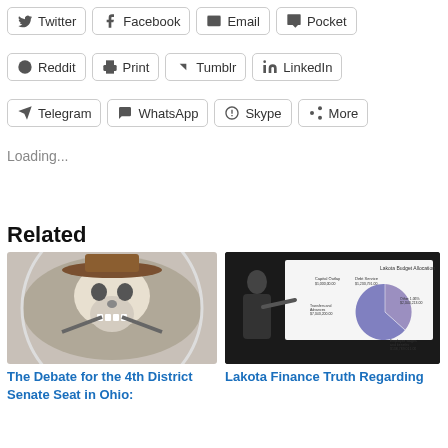Twitter
Facebook
Email
Pocket
Reddit
Print
Tumblr
LinkedIn
Telegram
WhatsApp
Skype
More
Loading...
Related
[Figure (photo): Skull wearing cowboy hat with crossed guns, circular image]
The Debate for the 4th District Senate Seat in Ohio:
[Figure (photo): Man pointing at Lakota Budget Allocation pie chart on screen]
Lakota Finance Truth Regarding